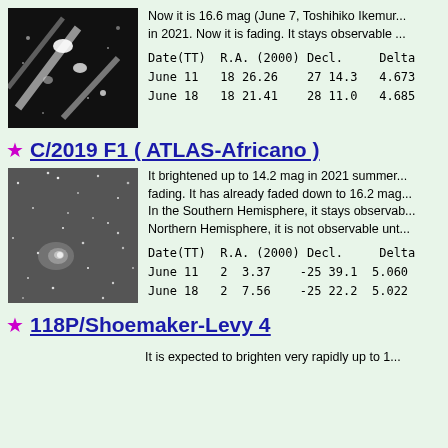[Figure (photo): Black and white astronomical image of a comet showing bright elongated streaks against dark background]
Now it is 16.6 mag (June 7, Toshihiko Ikemur... in 2021. Now it is fading. It stays observable ...
| Date(TT) | R.A. (2000) | Decl. | Delta |
| --- | --- | --- | --- |
| June 11 | 18 26.26 | 27 14.3 | 4.673 |
| June 18 | 18 21.41 | 28 11.0 | 4.685 |
C/2019 F1 ( ATLAS-Africano )
[Figure (photo): Black and white astronomical image of comet C/2019 F1 ATLAS-Africano showing a fuzzy comet against a star field]
It brightened up to 14.2 mag in 2021 summer... fading. It has already faded down to 16.2 mag... In the Southern Hemisphere, it stays observab... Northern Hemisphere, it is not observable unt...
| Date(TT) | R.A. (2000) | Decl. | Delta |
| --- | --- | --- | --- |
| June 11 | 2  3.37 | -25 39.1 | 5.060 |
| June 18 | 2  7.56 | -25 22.2 | 5.022 |
118P/Shoemaker-Levy 4
It is expected to brighten very rapidly up to 1...